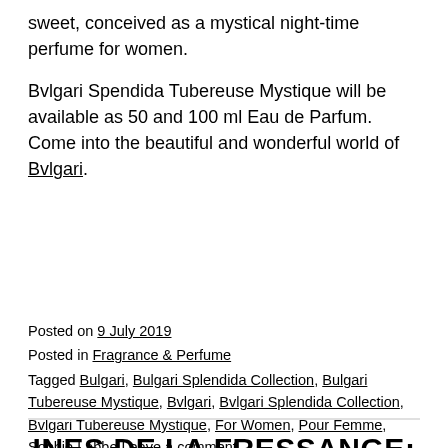sweet, conceived as a mystical night-time perfume for women.
Bvlgari Spendida Tubereuse Mystique will be available as 50 and 100 ml Eau de Parfum. Come into the beautiful and wonderful world of Bvlgari.
Posted on 9 July 2019
Posted in Fragrance & Perfume
Tagged Bulgari, Bulgari Splendida Collection, Bulgari Tubereuse Mystique, Bvlgari, Bvlgari Splendida Collection, Bvlgari Tubereuse Mystique, For Women, Pour Femme, Sophie Labbe Leave a comment
INES DE LA FRESSANGE: BLANC CHIC & OR CHOC